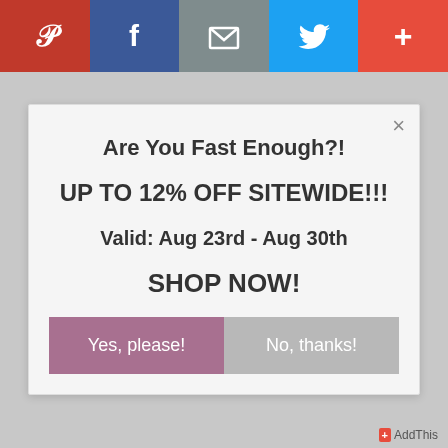[Figure (screenshot): Social share bar with Pinterest (red), Facebook (dark blue), Email (gray), Twitter (light blue), and Plus (red-orange) buttons]
×
Are You Fast Enough?!
UP TO 12% OFF SITEWIDE!!!
Valid: Aug 23rd - Aug 30th
SHOP NOW!
Yes, please!
No, thanks!
+ AddThis